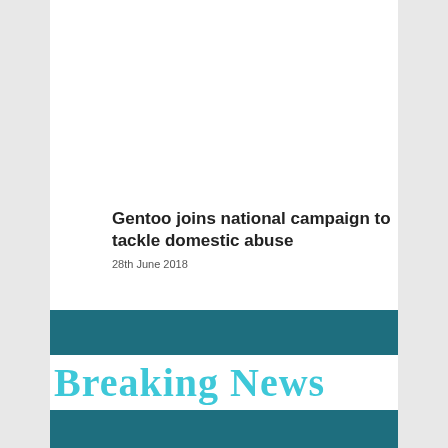[Figure (photo): Photo of a woman with short blonde hair wearing a white t-shirt and a lanyard, standing in front of a banner about domestic abuse support]
Gentoo joins national campaign to tackle domestic abuse
28th June 2018
[Figure (infographic): Breaking News graphic with teal header bar, cyan bold 'Breaking News' text on white background, and teal footer bar]